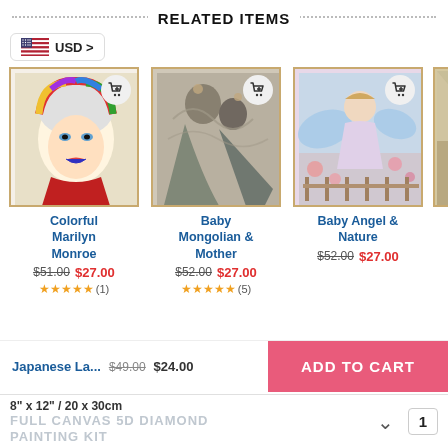RELATED ITEMS
USD >
[Figure (photo): Diamond painting product image of Colorful Marilyn Monroe in a gold frame]
Colorful Marilyn Monroe
$51.00 $27.00 ★★★★★ (1)
[Figure (photo): Diamond painting product image of Baby Mongolian & Mother in a gold frame]
Baby Mongolian & Mother
$52.00 $27.00 ★★★★★ (5)
[Figure (photo): Diamond painting product image of Baby Angel & Nature in a gold frame]
Baby Angel & Nature
$52.00 $27.00
[Figure (photo): Partially visible fourth product image in a gold frame]
B...
$...
Japanese La... $49.00 $24.00 ADD TO CART
8" x 12" / 20 x 30cm
FULL CANVAS 5D DIAMOND PAINTING KIT
1